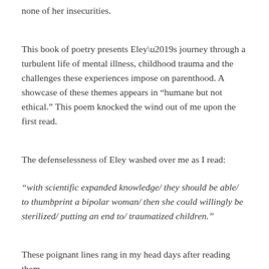none of her insecurities.
This book of poetry presents Eley’s journey through a turbulent life of mental illness, childhood trauma and the challenges these experiences impose on parenthood. A showcase of these themes appears in “humane but not ethical.” This poem knocked the wind out of me upon the first read.
The defenselessness of Eley washed over me as I read:
“with scientific expanded knowledge/ they should be able/ to thumbprint a bipolar woman/ then she could willingly be sterilized/ putting an end to/ traumatized children.”
These poignant lines rang in my head days after reading them.
To say that Eley crafted these words would discount the raw beauty of her courageous choice to share herself with the reader. From the poem, “humane but not ethical,” I realized the